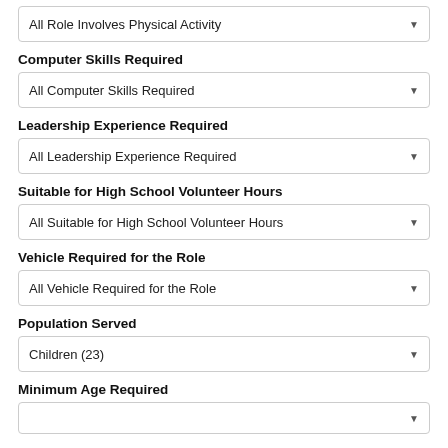All Role Involves Physical Activity
Computer Skills Required
All Computer Skills Required
Leadership Experience Required
All Leadership Experience Required
Suitable for High School Volunteer Hours
All Suitable for High School Volunteer Hours
Vehicle Required for the Role
All Vehicle Required for the Role
Population Served
Children  (23)
Minimum Age Required